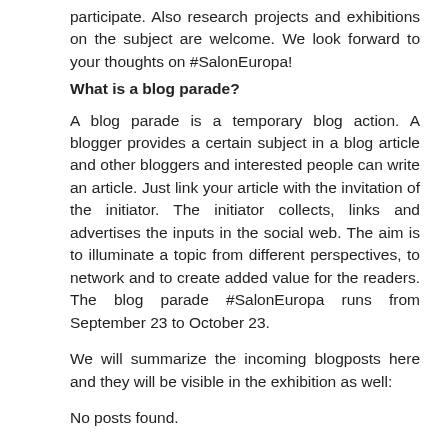participate. Also research projects and exhibitions on the subject are welcome. We look forward to your thoughts on #SalonEuropa!
What is a blog parade?
A blog parade is a temporary blog action. A blogger provides a certain subject in a blog article and other bloggers and interested people can write an article. Just link your article with the invitation of the initiator. The initiator collects, links and advertises the inputs in the social web. The aim is to illuminate a topic from different perspectives, to network and to create added value for the readers. The blog parade #SalonEuropa runs from September 23 to October 23.
We will summarize the incoming blogposts here and they will be visible in the exhibition as well:
No posts found.